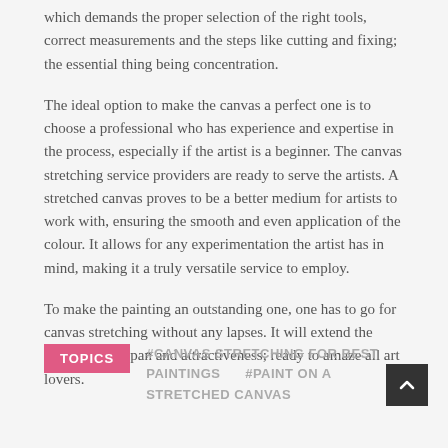which demands the proper selection of the right tools, correct measurements and the steps like cutting and fixing; the essential thing being concentration.
The ideal option to make the canvas a perfect one is to choose a professional who has experience and expertise in the process, especially if the artist is a beginner. The canvas stretching service providers are ready to serve the artists. A stretched canvas proves to be a better medium for artists to work with, ensuring the smooth and even application of the colour. It allows for any experimentation the artist has in mind, making it a truly versatile service to employ.
To make the painting an outstanding one, one has to go for canvas stretching without any lapses. It will extend the artwork’s lifespan and attractiveness; ready to amaze all art lovers.
TOPICS  #CANVAS STRETCHING FOR BEST PAINTINGS  #PAINT ON A STRETCHED CANVAS